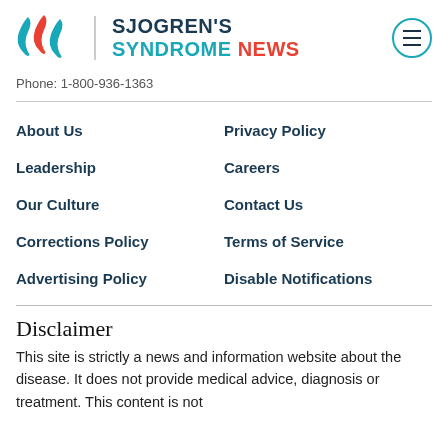SJOGREN'S SYNDROME NEWS
Phone: 1-800-936-1363
About Us
Privacy Policy
Leadership
Careers
Our Culture
Contact Us
Corrections Policy
Terms of Service
Advertising Policy
Disable Notifications
Disclaimer
This site is strictly a news and information website about the disease. It does not provide medical advice, diagnosis or treatment. This content is not